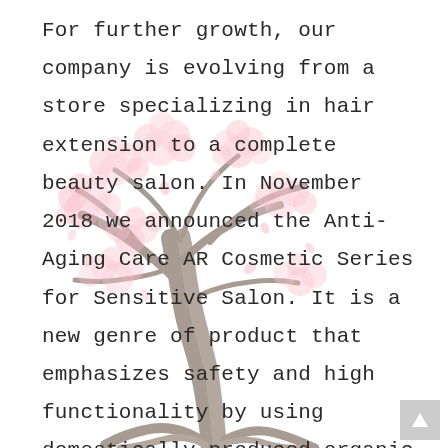[Figure (illustration): Watercolor illustration of a cherry blossom tree with pink flowers and grey-brown trunk, positioned in the lower center-right of the page as a decorative background element.]
For further growth, our company is evolving from a store specializing in hair extension to a complete beauty salon. In November 2018 we announced the Anti-Aging Care AR Cosmetic Series for Sensitive Salon. It is a new genre of product that emphasizes safety and high functionality by using domestically produced organic ingredients, and also offers daily home care for skin and hair, developed and researched at its own laboratory.